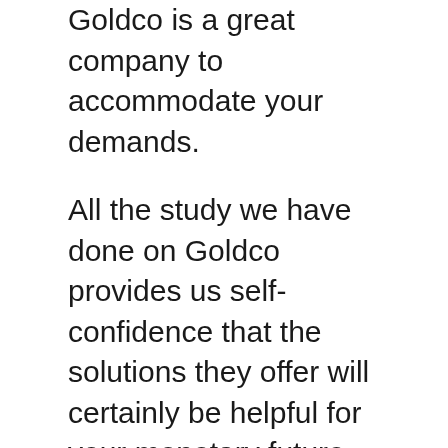Goldco is a great company to accommodate your demands.
All the study we have done on Goldco provides us self-confidence that the solutions they offer will certainly be helpful for your monetary future. Conduct your very own study right into them and request their free guide regarding self guided IRAs. As soon as you are satisfied, you can obtain your account established straightaway.
Frequently asked questions.
Are precious metal financial investments a smart option?
Buying precious metals provides a variety of